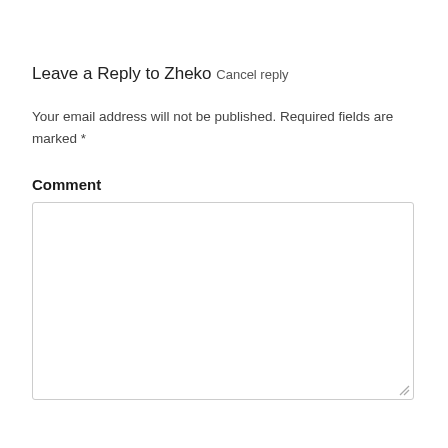Leave a Reply to Zheko Cancel reply
Your email address will not be published. Required fields are marked *
Comment
[Figure (other): Empty comment text area input box with resize handle in bottom-right corner]